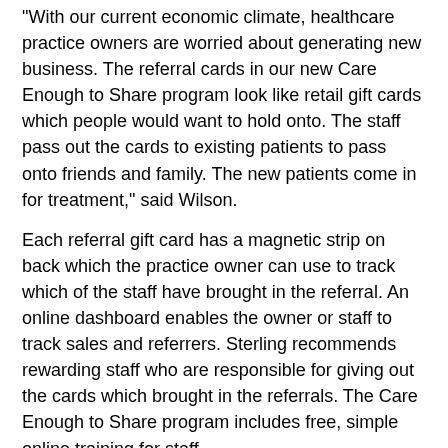"With our current economic climate, healthcare practice owners are worried about generating new business. The referral cards in our new Care Enough to Share program look like retail gift cards which people would want to hold onto. The staff pass out the cards to existing patients to pass onto friends and family. The new patients come in for treatment," said Wilson.
Each referral gift card has a magnetic strip on back which the practice owner can use to track which of the staff have brought in the referral. An online dashboard enables the owner or staff to track sales and referrers. Sterling recommends rewarding staff who are responsible for giving out the cards which brought in the referrals. The Care Enough to Share program includes free, simple online training for staff.
About Sterling
Sterling, Inc., is a practice management consulting firm which provides customized consulting and training to healthcare professionals to help them achieve a better practice for a better life. In business for nearly three